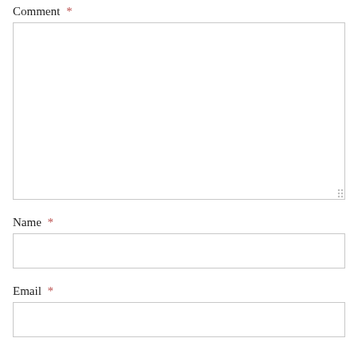Comment *
[Figure (screenshot): Empty comment textarea input box with resize handle at bottom right]
Name *
[Figure (screenshot): Empty name text input box]
Email *
[Figure (screenshot): Empty email text input box]